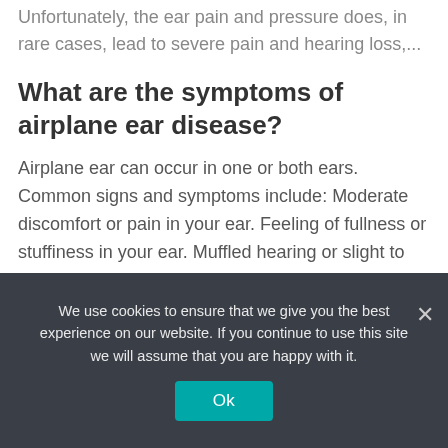Unfortunately, the ear pain and pressure does, in rare cases, lead to severe pain and hearing loss,...
What are the symptoms of airplane ear disease?
Airplane ear can occur in one or both ears. Common signs and symptoms include: Moderate discomfort or pain in your ear. Feeling of fullness or stuffiness in your ear. Muffled hearing or slight to moderate hearing loss.
When to take decongestant for ear
We use cookies to ensure that we give you the best experience on our website. If you continue to use this site we will assume that you are happy with it.